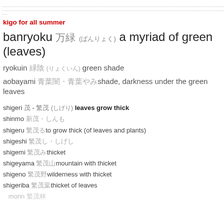......................................................................................................................................................................................................................................................
kigo for all summer
banryoku 万緑 (ばんりょく) a myriad of green (leaves)
ryokuin 緑陰 (りょくいん) green shade
aobayami 青葉闇・青葉やみshade, darkness under the green leaves
shigeri 茂 - 繁茂 (しげり) leaves grow thick
shinmo 新茂・しんも
shigeru 繁茂るto grow thick (of leaves and plants)
shigeshi 繁茂し・しげし
shigemi 繁茂みthicket
shigeyama 繁茂山mountain with thicket
shigeno 繁茂野wilderness with thicket
shigeriba 繁茂葉thicket of leaves
morin 繁茂林...